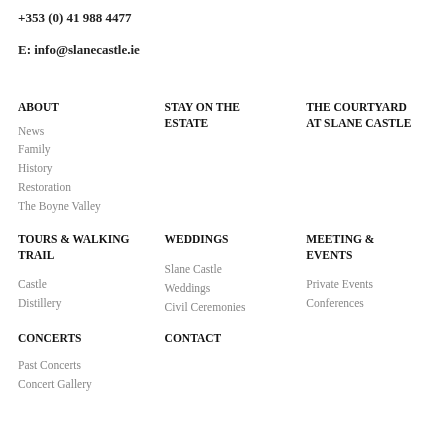+353 (0) 41 988 4477
E: info@slanecastle.ie
ABOUT
STAY ON THE ESTATE
THE COURTYARD AT SLANE CASTLE
News
Family
History
Restoration
The Boyne Valley
TOURS & WALKING TRAIL
WEDDINGS
MEETING & EVENTS
Castle
Slane Castle Weddings
Private Events
Distillery
Civil Ceremonies
Conferences
CONCERTS
CONTACT
Past Concerts
Concert Gallery